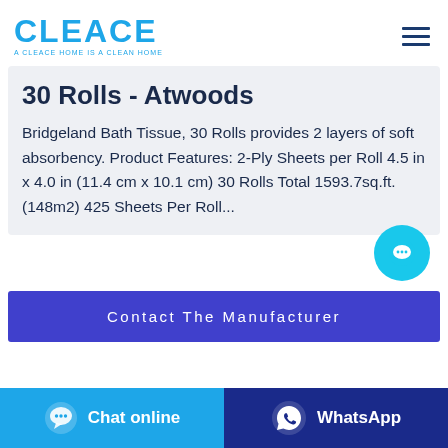CLEACE — A CLEACE HOME IS A CLEAN HOME
30 Rolls - Atwoods
Bridgeland Bath Tissue, 30 Rolls provides 2 layers of soft absorbency. Product Features: 2-Ply Sheets per Roll 4.5 in x 4.0 in (11.4 cm x 10.1 cm) 30 Rolls Total 1593.7sq.ft. (148m2) 425 Sheets Per Roll...
Contact The Manufacturer
Chat online
WhatsApp